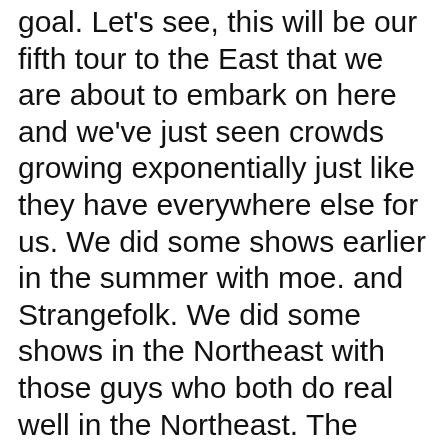goal. Let's see, this will be our fifth tour to the East that we are about to embark on here and we've just seen crowds growing exponentially just like they have everywhere else for us. We did some shows earlier in the summer with moe. and Strangefolk. We did some shows in the Northeast with those guys who both do real well in the Northeast. The crossover was great. A lot of fans of moe. and Strangfolk came out and saw us for the first time and it was great exposure for us. The response seems to be great. It's just a matter of getting in front of people and getting the press and what not, and so far we're really really pleased with the growth and the way it's